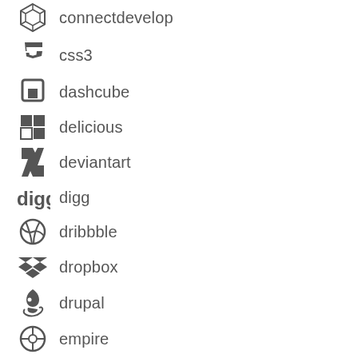connectdevelop
css3
dashcube
delicious
deviantart
digg
dribbble
dropbox
drupal
empire
facebook
facebook-f (alias)
facebook-official